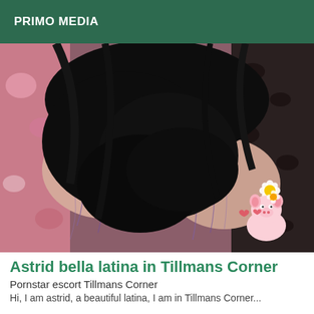PRIMO MEDIA
[Figure (photo): Close-up photo of a person with long dark black hair, visible tattoos on arms, lying on patterned fabric with leopard print and colorful designs. A small cute cartoon sticker of a pig with flowers is visible in the lower right area of the image.]
Astrid bella latina in Tillmans Corner
Pornstar escort Tillmans Corner
Hi, I am astrid, a beautiful latina, I am in Tillmans Corner...